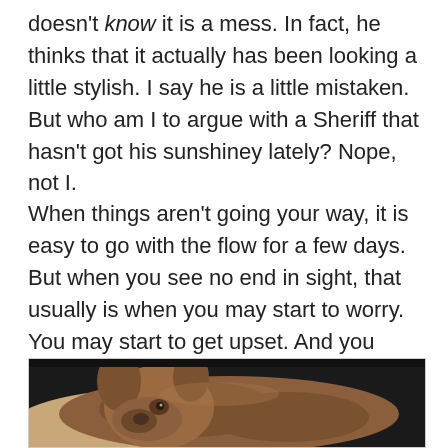doesn't know it is a mess.  In fact, he thinks that it actually has been looking a little stylish.  I say he is a little mistaken.  But who am I to argue with a Sheriff that hasn't got his sunshiney lately?  Nope, not I.
When things aren't going your way, it is easy to go with the flow for a few days.  But when you see no end in sight, that usually is when you may start to worry.  You may start to get upset.  And you wonder, will it ever, truly, stop raining?
[Figure (photo): A photo of a brown animal (appears to be a dog or cat) resting, viewed from above/side, with a dark background.]